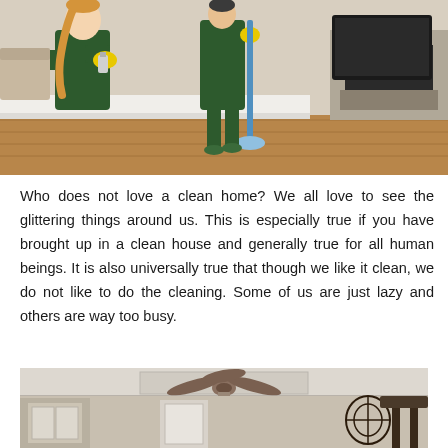[Figure (photo): Photo of cleaning staff in green uniforms with yellow gloves cleaning a living room. One person in foreground sprays a surface, another in background mops the floor near a fireplace.]
Who does not love a clean home? We all love to see the glittering things around us. This is especially true if you have brought up in a clean house and generally true for all human beings. It is also universally true that though we like it clean, we do not like to do the cleaning. Some of us are just lazy and others are way too busy.
[Figure (photo): Interior photo of a clean bedroom or living room with a ceiling fan with light fixture, neutral beige/tan walls with white crown molding, doors visible, and decorative wall art.]